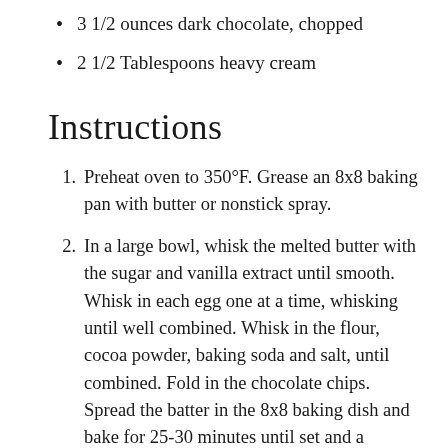3 1/2 ounces dark chocolate, chopped
2 1/2 Tablespoons heavy cream
Instructions
Preheat oven to 350°F. Grease an 8x8 baking pan with butter or nonstick spray.
In a large bowl, whisk the melted butter with the sugar and vanilla extract until smooth. Whisk in each egg one at a time, whisking until well combined. Whisk in the flour, cocoa powder, baking soda and salt, until combined. Fold in the chocolate chips. Spread the batter in the 8x8 baking dish and bake for 25-30 minutes until set and a toothpick inserted in the center comes out clean. Remove and let cool.
While the brownies are cooling, add the